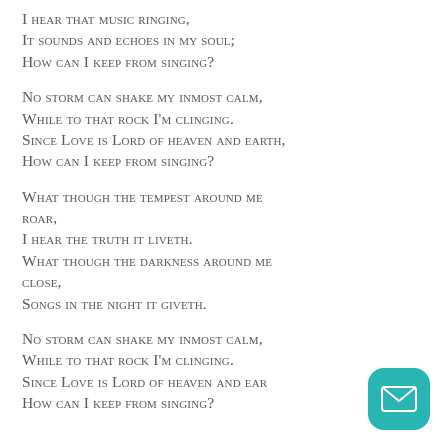I hear that music ringing,
It sounds and echoes in my soul;
How can I keep from singing?

No storm can shake my inmost calm,
While to that rock I'm clinging.
Since Love is Lord of heaven and earth,
How can I keep from singing?

What though the tempest around me roar,
I hear the truth it liveth.
What though the darkness around me close,
Songs in the night it giveth.

No storm can shake my inmost calm,
While to that rock I'm clinging.
Since Love is Lord of heaven and ear...
How can I keep from singing?
[Figure (other): Teal rounded square email button icon in bottom-right corner]